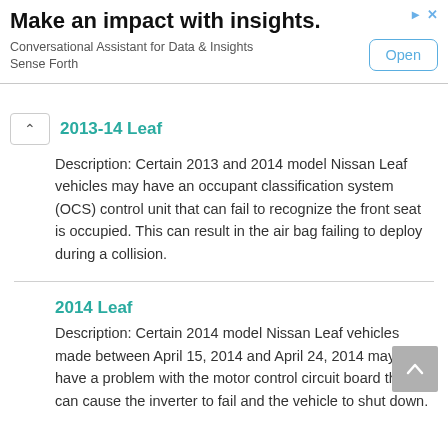[Figure (screenshot): Advertisement banner: 'Make an impact with insights.' with subtitle 'Conversational Assistant for Data & Insights Sense Forth' and an 'Open' button.]
2013-14 Leaf
Description: Certain 2013 and 2014 model Nissan Leaf vehicles may have an occupant classification system (OCS) control unit that can fail to recognize the front seat is occupied. This can result in the air bag failing to deploy during a collision.
2014 Leaf
Description: Certain 2014 model Nissan Leaf vehicles made between April 15, 2014 and April 24, 2014 may have have a problem with the motor control circuit board that can cause the inverter to fail and the vehicle to shut down.